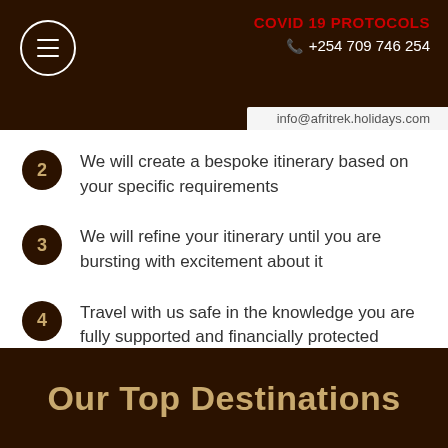COVID 19 PROTOCOLS | +254 709 746 254 | info@afritrek.holidays.com
We will create a bespoke itinerary based on your specific requirements
We will refine your itinerary until you are bursting with excitement about it
Travel with us safe in the knowledge you are fully supported and financially protected
Our Top Destinations